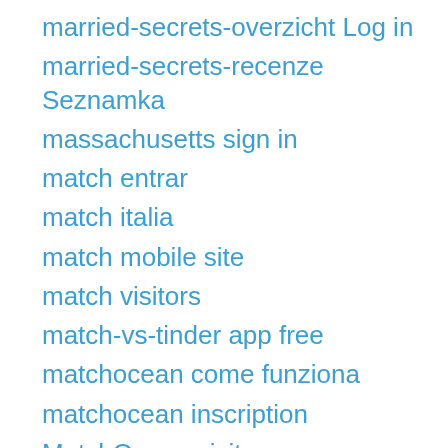married-secrets-overzicht Log in
married-secrets-recenze Seznamka
massachusetts sign in
match entrar
match italia
match mobile site
match visitors
match-vs-tinder app free
matchocean come funziona
matchocean inscription
MatchOcean visitors
mate1 entrar
mate1 sito di incontri
mature dating inscription
mature-chat-rooms sign in